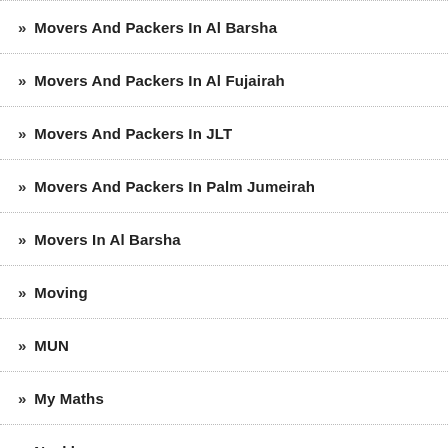Movers And Packers In Al Barsha
Movers And Packers In Al Fujairah
Movers And Packers In JLT
Movers And Packers In Palm Jumeirah
Movers In Al Barsha
Moving
MUN
My Maths
Necklaces
Necklaces For Women
New York Cables
No Credit Check Loans
No Credit Check Loans - Online Approval